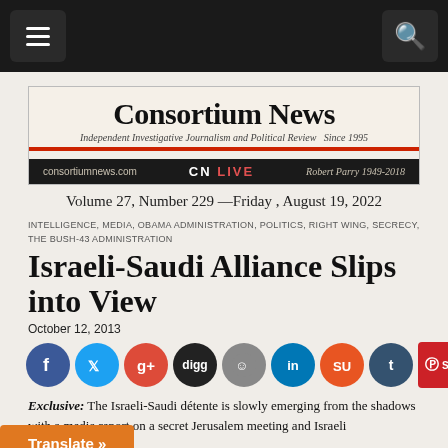Consortium News — Independent Investigative Journalism and Political Review — Since 1995 — consortiumnews.com — CN LIVE — Robert Parry 1949-2018
Volume 27, Number 229 —Friday , August 19, 2022
INTELLIGENCE, MEDIA, OBAMA ADMINISTRATION, POLITICS, RIGHT WING, SECRECY, THE BUSH-43 ADMINISTRATION
Israeli-Saudi Alliance Slips into View
October 12, 2013
[Figure (other): Social media share buttons row: Facebook, Twitter, Google+, Digg, Reddit, LinkedIn, StumbleUpon, Tumblr, Pinterest Save, Email]
Exclusive: The Israeli-Saudi détente is slowly emerging from the shadows with a media report on a secret Jerusalem meeting and Israeli